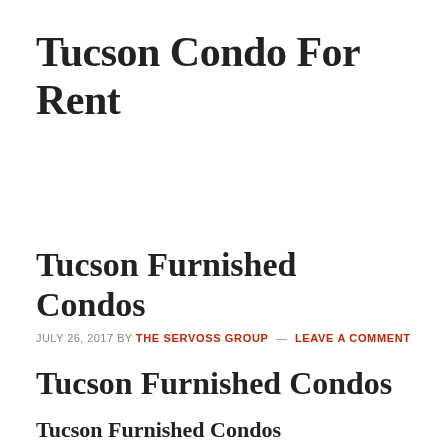Tucson Condo For Rent
Tucson Furnished Condos
JULY 26, 2017 BY THE SERVOSS GROUP — LEAVE A COMMENT
Tucson Furnished Condos
Tucson Furnished Condos
[Figure (photo): Silhouette of desert plants (saguaro cactus/ocotillo) against a vivid orange and purple sunset sky in Tucson, Arizona.]